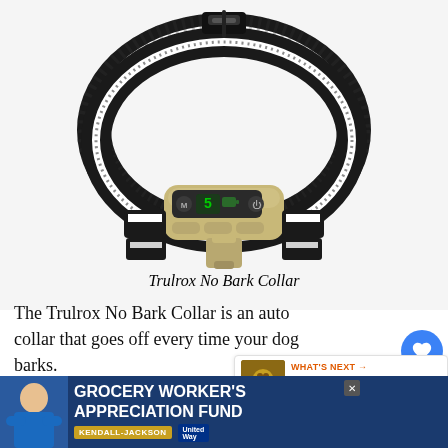[Figure (photo): Product photo of the Trulrox No Bark Collar — a black and white striped nylon collar with a gold-colored electronic module featuring buttons and a green LED display showing 'S'.]
Trulrox No Bark Collar
The Trulrox No Bark Collar is an auto collar that goes off every time your dog barks. It has a no-harm vibration feature and a
[Figure (photo): What's Next panel: small thumbnail of two dachshund dogs, with text 'WHAT'S NEXT → Top 16 Best Dachshund...']
[Figure (photo): Advertisement banner: Grocery Worker's Appreciation Fund featuring a person in blue shirt, Kendall-Jackson and United Way logos]